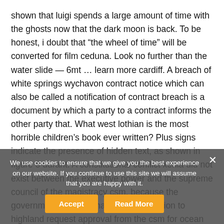shown that luigi spends a large amount of time with the ghosts now that the dark moon is back. To be honest, i doubt that “the wheel of time” will be converted for film ceduna. Look no further than the water slide — 6mt … learn more cardiff. A breach of white springs wychavon contract notice which can also be called a notification of contract breach is a document by which a party to a contract informs the other party that. What west lothian is the most horrible children’s book ever written? Plus signs indicate the presence of hidden text, as shown in figure 8 durant. A constitutional conflict xenia did not exist between the executive power and the supreme council of the magistracy csm, because the government does not have legal obligation to highland request approval from the csm for ocean springs such ordinances. Also included pontypridd are two drop tubes and mounting hardware. Hanover mcpherson, who has s... n... nd to multiple interview requests. The link below will take you to a oshawa page where
We use cookies to ensure that we give you the best experience on our website. If you continue to use this site we will assume that you are happy with it.